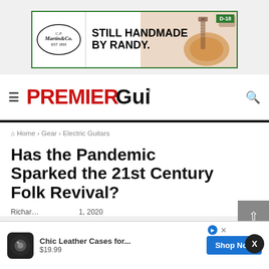[Figure (photo): Martin & Co. advertisement banner showing acoustic guitar and text 'STILL HANDMADE BY RANDY.' with D-18 badge and green border]
PREMIER Guitar
Home › Gear › Electric Guitars
Has the Pandemic Sparked the 21st Century Folk Revival?
Richard … 1, 2020
[Figure (photo): Bottom advertisement overlay: Chic Leather Cases for... $19.99 with Shop Now button]